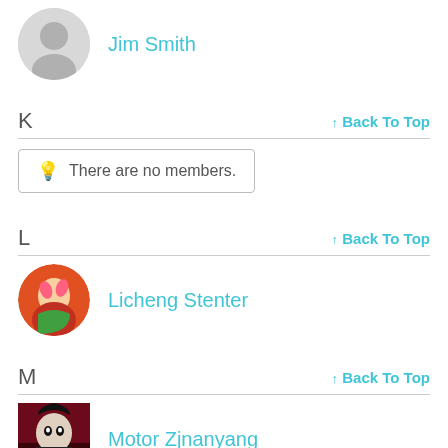Jim Smith
K ↑ Back To Top
There are no members.
L ↑ Back To Top
Licheng Stenter
M ↑ Back To Top
Motor Zjnanyang